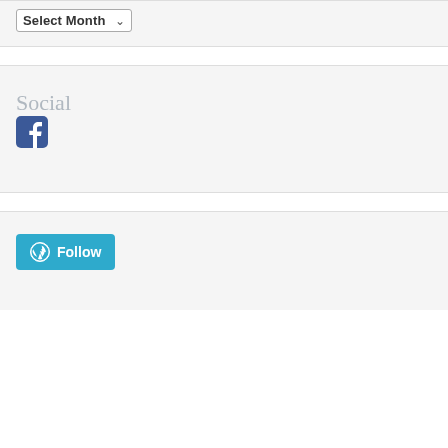Select Month (dropdown)
Social
[Figure (logo): Facebook icon - blue rounded square with white 'f' letter]
[Figure (logo): WordPress Follow button - blue rounded rectangle with WordPress logo and 'Follow' text]